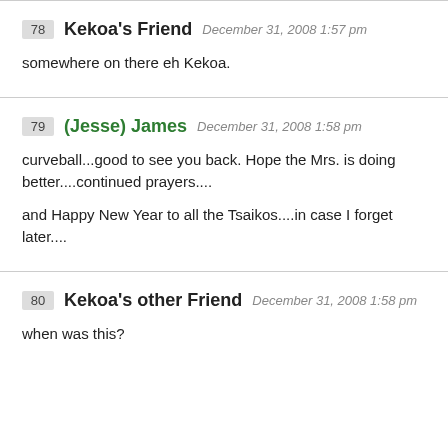78 Kekoa's Friend December 31, 2008 1:57 pm
somewhere on there eh Kekoa.
79 (Jesse) James December 31, 2008 1:58 pm
curveball...good to see you back. Hope the Mrs. is doing better....continued prayers....
and Happy New Year to all the Tsaikos....in case I forget later....
80 Kekoa's other Friend December 31, 2008 1:58 pm
when was this?